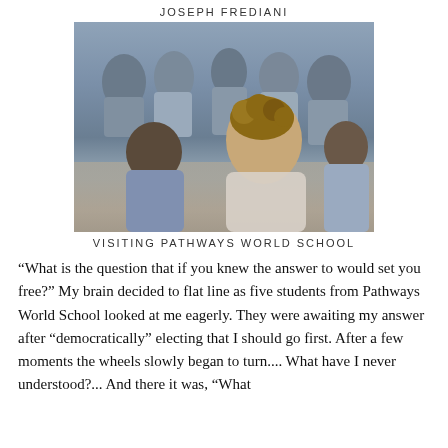JOSEPH FREDIANI
[Figure (photo): A group of students in blue school uniforms sitting on the floor, with a young Western man with curly brown hair sitting among them, viewed from behind, at Pathways World School.]
VISITING PATHWAYS WORLD SCHOOL
“What is the question that if you knew the answer to would set you free?” My brain decided to flat line as five students from Pathways World School looked at me eagerly. They were awaiting my answer after “democratically” electing that I should go first. After a few moments the wheels slowly began to turn.... What have I never understood?... And there it was, “What